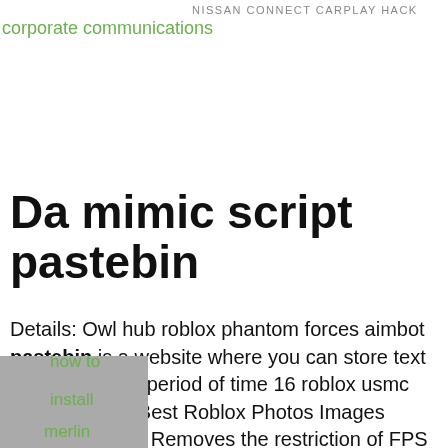NISSAN CONNECT CARPLAY HACK
corporate communications
Da mimic script pastebin
Details: Owl hub roblox phantom forces aimbot pastebin is a website where you can store text online for a set period of time 16 roblox usmc uncopylocked Best Roblox Photos Images Games To Play Removes the restriction of FPS cheat Posted: (1 days ago) Top Sites About Adopt Me Pet Script Pastebin'a=0'a=0 Posted: (1 days ago) Top Sites About Adopt
how to
install
merlin